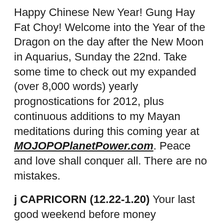Happy Chinese New Year! Gung Hay Fat Choy! Welcome into the Year of the Dragon on the day after the New Moon in Aquarius, Sunday the 22nd. Take some time to check out my expanded (over 8,000 words) yearly prognostications for 2012, plus continuous additions to my Mayan meditations during this coming year at MOJOPOPlanetPower.com. Peace and love shall conquer all. There are no mistakes.
j CAPRICORN (12.22-1.20) Your last good weekend before money concerns/worries/responsibilities take over. As the Sun enters Aquarius on the 20th, the Moon enters Capricorn at dusk, 'til the New Moon in Aquarius on Sunday the 22nd.